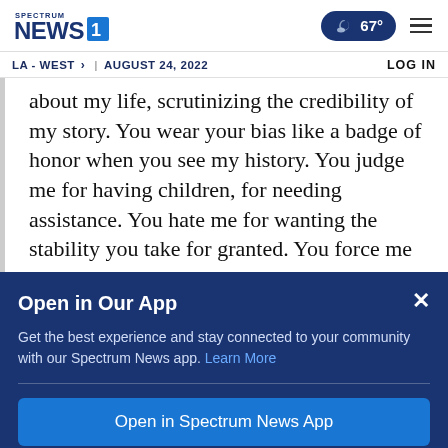Spectrum News 1 | 67° | LA - WEST | AUGUST 24, 2022 | LOG IN
about my life, scrutinizing the credibility of my story. You wear your bias like a badge of honor when you see my history. You judge me for having children, for needing assistance. You hate me for wanting the stability you take for granted. You force me
Open in Our App
Get the best experience and stay connected to your community with our Spectrum News app. Learn More
Open in Spectrum News App
Continue in Browser